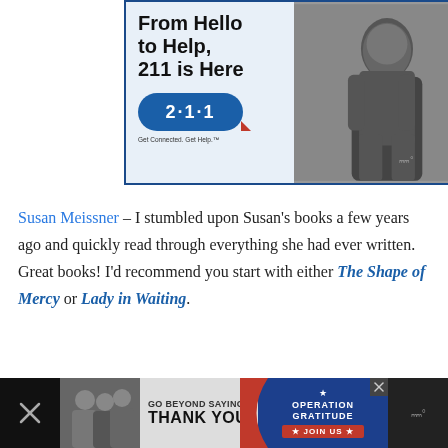[Figure (infographic): 211 advertisement banner: 'From Hello to Help, 211 is Here' with 211 logo and photo of a young Black woman]
Susan Meissner – I stumbled upon Susan's books a few years ago and quickly read through everything she had ever written. Great books! I'd recommend you start with either The Shape of Mercy or Lady in Waiting.
[Figure (photo): Bottom advertisement banner: 'GO BEYOND SAYING THANK YOU' with Operation Gratitude 'JOIN US' call to action with a close button]